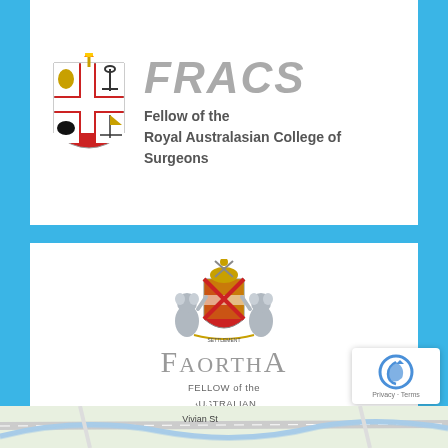[Figure (logo): FRACS logo with Royal Australasian College of Surgeons crest (shield with cross and swans) and text 'Fellow of the Royal Australasian College of Surgeons']
[Figure (logo): FAOrthA logo with Australian Orthopaedic Association coat of arms (two koalas supporting a shield, gold helmet, crossed implements) and text 'FAOrthA - Fellow of the Australian Orthopaedic Association']
Townsville:
[Figure (map): Partial street map showing Vivian St, Townsville area]